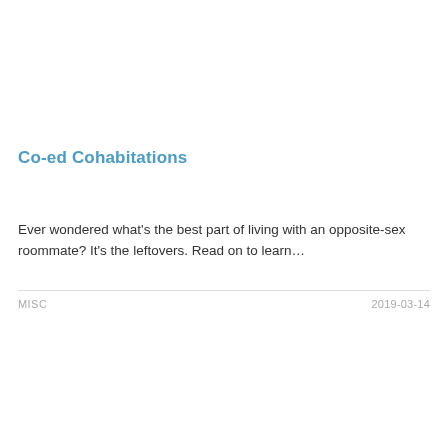Co-ed Cohabitations
Ever wondered what's the best part of living with an opposite-sex roommate? It's the leftovers. Read on to learn...
MISC    2019-03-14